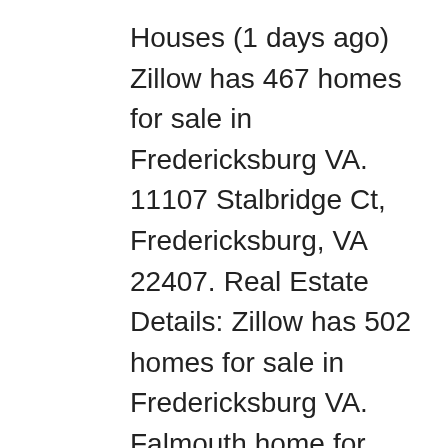Houses (1 days ago) Zillow has 467 homes for sale in Fredericksburg VA. 11107 Stalbridge Ct, Fredericksburg, VA 22407. Real Estate Details: Zillow has 502 homes for sale in Fredericksburg VA. Falmouth home for sale: Back on the market. 5 baths. Property is zoned commercial and is in a great location. There are currently 15 new and used mobile homes listed for your search on MHVillage for sale or rent in the Fredericksburg area. Courtesy of Ink Homes And Lifestyle, LLC. Water and sewer on-site, man holes already on property. downtown historic fredericksburg va › Verified 8 days ago Browse 18 International Style Homes for sale in Fredericksburg, VA with interesting